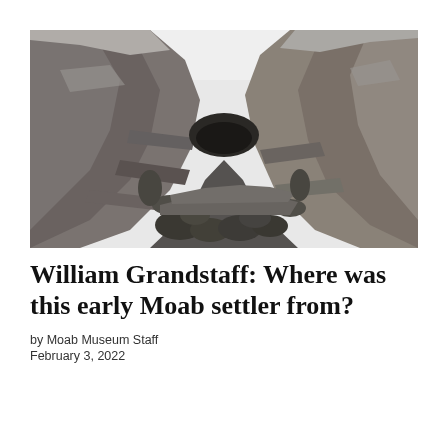[Figure (photo): Black and white photograph of a narrow canyon with tall sandstone rock walls on both sides, sparse desert vegetation and shrubs at the canyon floor, taken from inside looking upward toward a bright sky.]
William Grandstaff: Where was this early Moab settler from?
by Moab Museum Staff
February 3, 2022